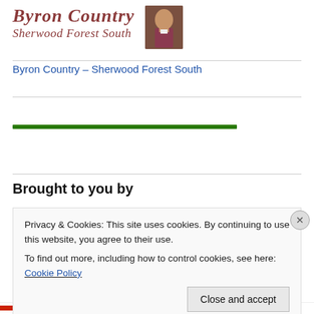[Figure (logo): Byron Country – Sherwood Forest South logo with cursive text and portrait of Byron]
Byron Country – Sherwood Forest South
[Figure (other): Green horizontal progress/loading bar]
Brought to you by
Privacy & Cookies: This site uses cookies. By continuing to use this website, you agree to their use.
To find out more, including how to control cookies, see here: Cookie Policy
Close and accept